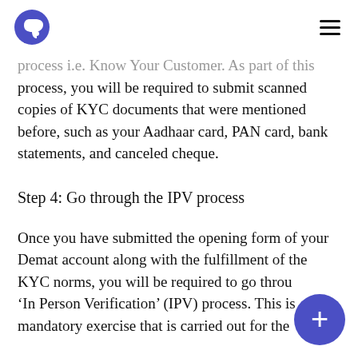Pvot logo and hamburger menu
process i.e. Know Your Customer. As part of this process, you will be required to submit scanned copies of KYC documents that were mentioned before, such as your Aadhaar card, PAN card, bank statements, and canceled cheque.
Step 4: Go through the IPV process
Once you have submitted the opening form of your Demat account along with the fulfillment of the KYC norms, you will be required to go through the 'In Person Verification' (IPV) process. This is a mandatory exercise that is carried out for the